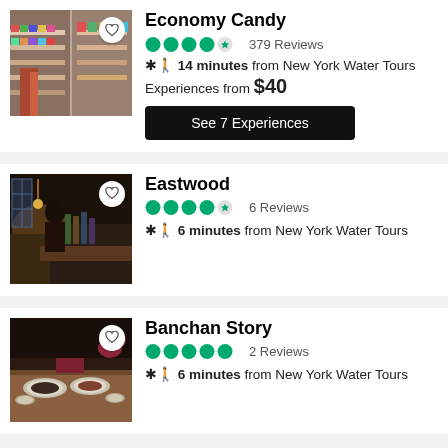Economy Candy
379 Reviews
14 minutes from New York Water Tours
Experiences from $40
See 7 Experiences
Eastwood
6 Reviews
6 minutes from New York Water Tours
Banchan Story
2 Reviews
6 minutes from New York Water Tours